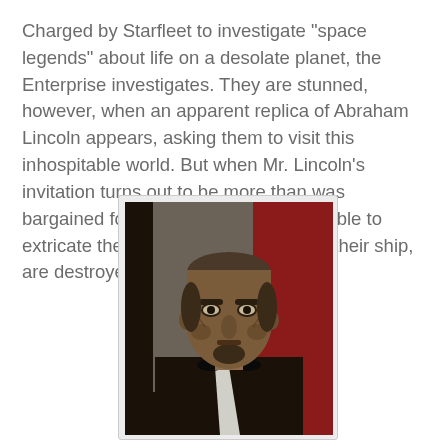Charged by Starfleet to investigate "space legends" about life on a desolate planet, the Enterprise investigates. They are stunned, however, when an apparent replica of Abraham Lincoln appears, asking them to visit this inhospitable world. But when Mr. Lincoln's invitation turns out to be more than was bargained for, will Kirk and Spock be able to extricate themselves before they, and their ship, are destroyed?
[Figure (photo): A man dressed as Abraham Lincoln in period attire including black suit and bow tie, photographed in what appears to be a TV show set with a red background, looking directly at the camera with a serious expression.]